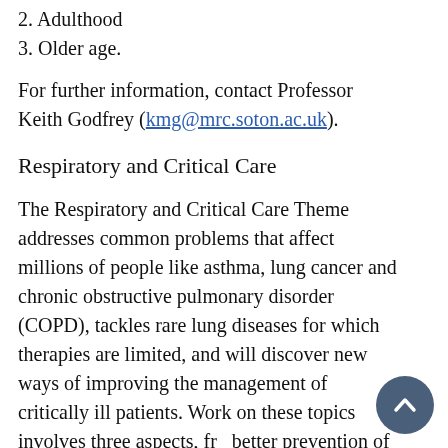2. Adulthood
3. Older age.
For further information, contact Professor Keith Godfrey (kmg@mrc.soton.ac.uk).
Respiratory and Critical Care
The Respiratory and Critical Care Theme addresses common problems that affect millions of people like asthma, lung cancer and chronic obstructive pulmonary disorder (COPD), tackles rare lung diseases for which therapies are limited, and will discover new ways of improving the management of critically ill patients. Work on these topics involves three aspects, from better prevention of disease, through earlier and accurate diagnoses, to developing treatments